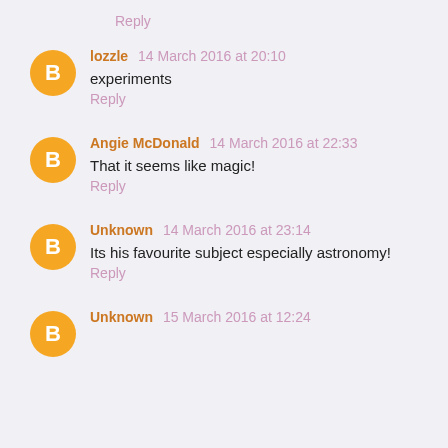Reply
lozzle  14 March 2016 at 20:10
experiments
Reply
Angie McDonald  14 March 2016 at 22:33
That it seems like magic!
Reply
Unknown  14 March 2016 at 23:14
Its his favourite subject especially astronomy!
Reply
Unknown  15 March 2016 at 12:24